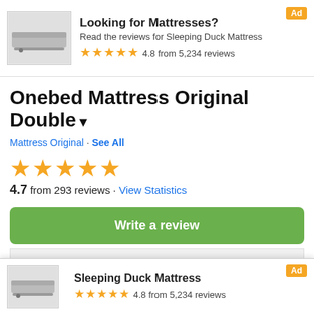[Figure (infographic): Ad banner for Sleeping Duck Mattress with product image, title 'Looking for Mattresses?', subtitle 'Read the reviews for Sleeping Duck Mattress', star rating 4.8 from 5,234 reviews, and Ad badge]
Onebed Mattress Original Double
Mattress Original · See All
[Figure (infographic): Five gold stars product rating display]
4.7 from 293 reviews · View Statistics
Write a review
Ask a question
[Figure (infographic): Bottom ad banner for Sleeping Duck Mattress with product image, title, star rating 4.8 from 5,234 reviews, and Ad badge]